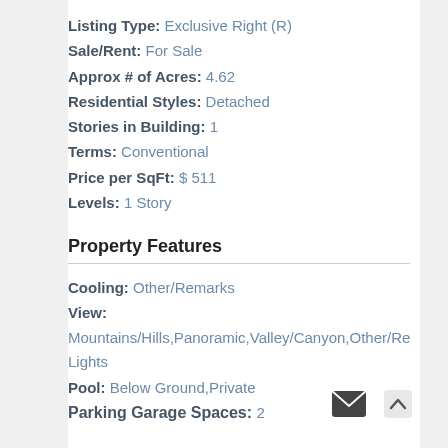Listing Type: Exclusive Right (R)
Sale/Rent: For Sale
Approx # of Acres: 4.62
Residential Styles: Detached
Stories in Building: 1
Terms: Conventional
Price per SqFt: $ 511
Levels: 1 Story
Property Features
Cooling: Other/Remarks
View:
Mountains/Hills,Panoramic,Valley/Canyon,Other/Re Lights
Pool: Below Ground,Private
Parking Garage Spaces: 2